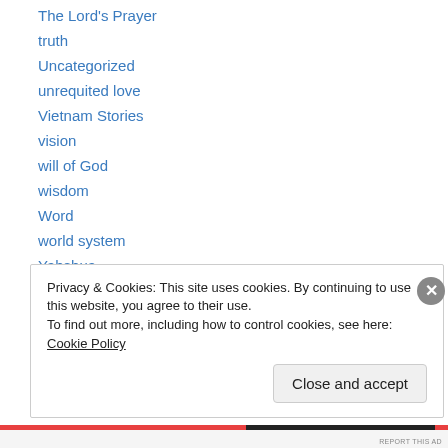The Lord's Prayer
truth
Uncategorized
unrequited love
Vietnam Stories
vision
will of God
wisdom
Word
world system
Yahshua
Yahweh
Privacy & Cookies: This site uses cookies. By continuing to use this website, you agree to their use. To find out more, including how to control cookies, see here: Cookie Policy
Close and accept
REPORT THIS AD